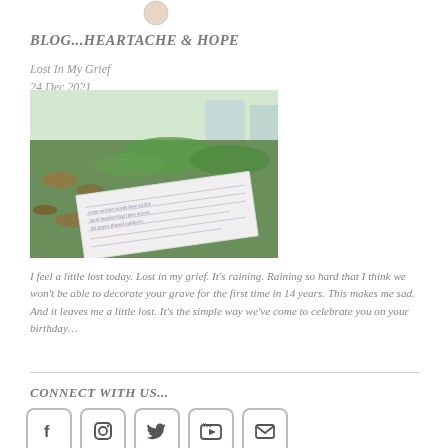[Figure (logo): Small circular logo/avatar at top center]
BLOG...HEARTACHE & HOPE
Lost In My Grief
24 Dec 2021
[Figure (photo): Photo of handwritten note or letter lying on grass with leaves]
I feel a little lost today. Lost in my grief. It's raining. Raining so hard that I think we won't be able to decorate your grave for the first time in 14 years. This makes me sad. And it leaves me a little lost. It's the simple way we've come to celebrate you on your birthday…
CONNECT WITH US...
[Figure (infographic): Social media icons: Facebook, Instagram, Twitter, YouTube, Email]